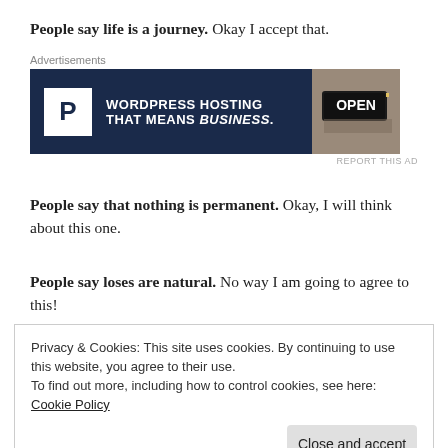People say life is a journey. Okay I accept that.
[Figure (other): Advertisement banner for WordPress Hosting with dark navy background, P logo, text 'WORDPRESS HOSTING THAT MEANS BUSINESS.' and a photo of an OPEN sign]
People say that nothing is permanent. Okay, I will think about this one.
People say loses are natural. No way I am going to agree to this!
Privacy & Cookies: This site uses cookies. By continuing to use this website, you agree to their use.
To find out more, including how to control cookies, see here: Cookie Policy
[Close and accept button]
the next generations as mantras!